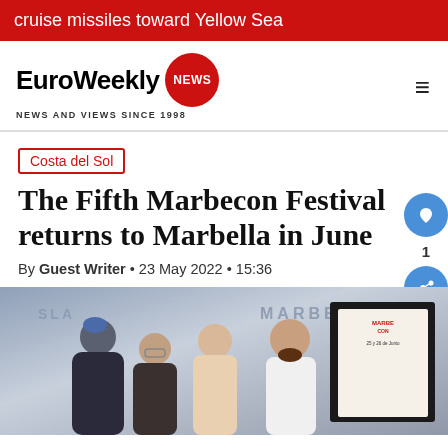cruise missiles toward Yellow Sea
[Figure (logo): EuroWeekly NEWS logo with red circular NEWS badge and tagline NEWS AND VIEWS SINCE 1998]
Costa del Sol
The Fifth Marbecon Festival returns to Marbella in June
By Guest Writer • 23 May 2022 • 15:36
[Figure (photo): Group of four people posing in front of a Marbella backdrop with a Marbecon festival poster. Three women and one man with a beard.]